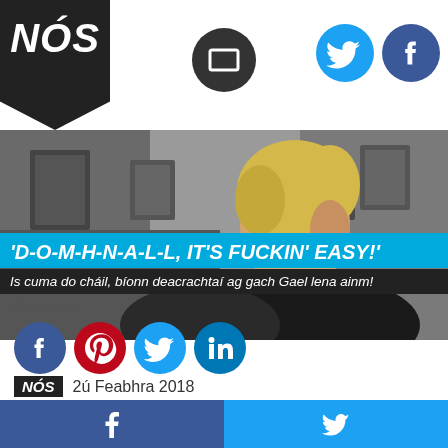NÓS
[Figure (photo): Blond-haired man in profile view inside a room with photographs on the wall]
'D-O-M-H-N-A-L-L, IT'S FUCKIN' EASY!'
Is cuma do cháil, bíonn deacrachtaí ag gach Gael lena ainm!
Share this...
NÓS   2ú Feabhra 2018
Facebook  Twitter